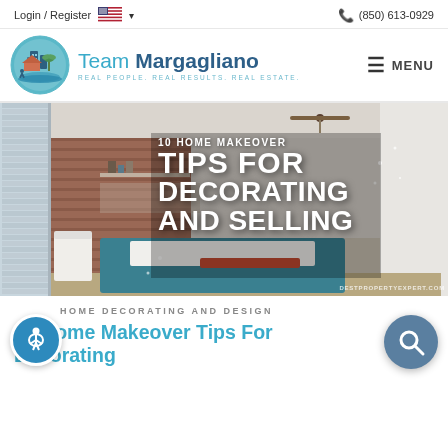Login / Register  🇺🇸 ▾   📞 (850) 613-0929
[Figure (logo): Team Margagliano real estate logo — circular teal badge with buildings, palm trees, and waves. Text: 'Team Margagliano' with tagline 'REAL PEOPLE. REAL RESULTS. REAL ESTATE.']
[Figure (photo): Bedroom scene with brick accent wall, ceiling fan, white chair, teal bedding, and large windows with blinds. Overlay text: '10 HOME MAKEOVER TIPS FOR DECORATING AND SELLING'. Watermark: DESTPROPERTYEXPERT.COM]
HOME DECORATING AND DESIGN
10 Home Makeover Tips For Decorating